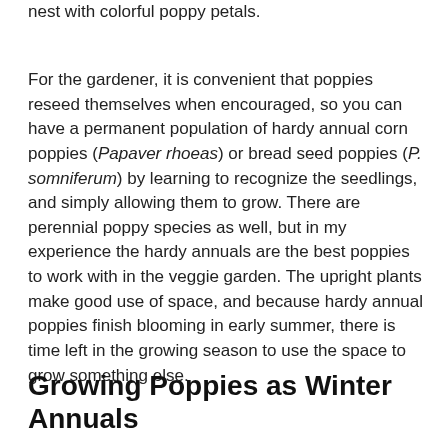nest with colorful poppy petals.
For the gardener, it is convenient that poppies reseed themselves when encouraged, so you can have a permanent population of hardy annual corn poppies (Papaver rhoeas) or bread seed poppies (P. somniferum) by learning to recognize the seedlings, and simply allowing them to grow. There are perennial poppy species as well, but in my experience the hardy annuals are the best poppies to work with in the veggie garden. The upright plants make good use of space, and because hardy annual poppies finish blooming in early summer, there is time left in the growing season to use the space to grow something else.
Growing Poppies as Winter Annuals